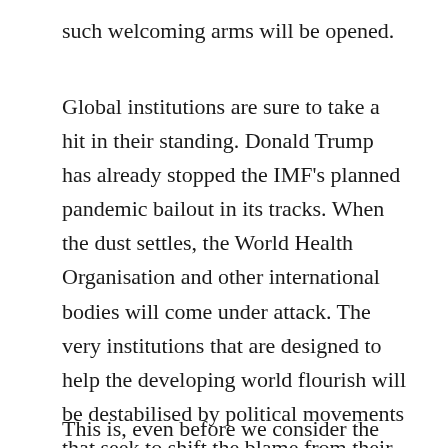such welcoming arms will be opened.
Global institutions are sure to take a hit in their standing. Donald Trump has already stopped the IMF's planned pandemic bailout in its tracks. When the dust settles, the World Health Organisation and other international bodies will come under attack. The very institutions that are designed to help the developing world flourish will be destabilised by political movements that seek to shift the blame from their poor domestic handling of the crisis.
This is, even before we consider the problems that